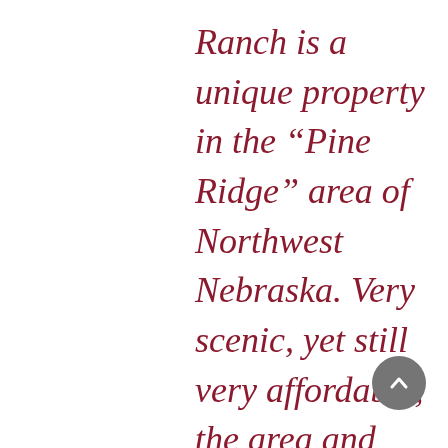Ranch is a unique property in the “Pine Ridge” area of Northwest Nebraska. Very scenic, yet still very affordable, the area and this ranch offer most of the amenities that are desirable for both a working and recreational lifestyle